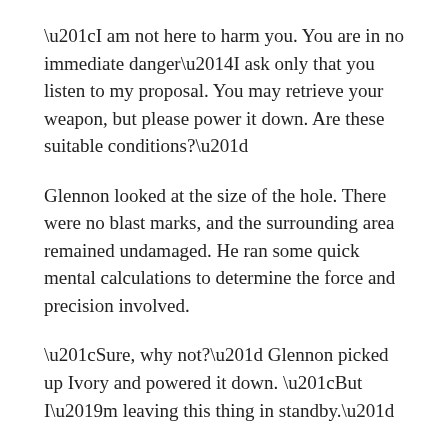“I am not here to harm you. You are in no immediate danger—I ask only that you listen to my proposal. You may retrieve your weapon, but please power it down. Are these suitable conditions?”
Glennon looked at the size of the hole. There were no blast marks, and the surrounding area remained undamaged. He ran some quick mental calculations to determine the force and precision involved.
“Sure, why not?” Glennon picked up Ivory and powered it down. “But I’m leaving this thing in standby.”
A silhouette appeared in the opening. “Wouldn’t have it any other way,” said the man. Without the speakers, he had the friendly voice of a high school math teacher. As he stepped out of the light, Glennon gasped in surprise